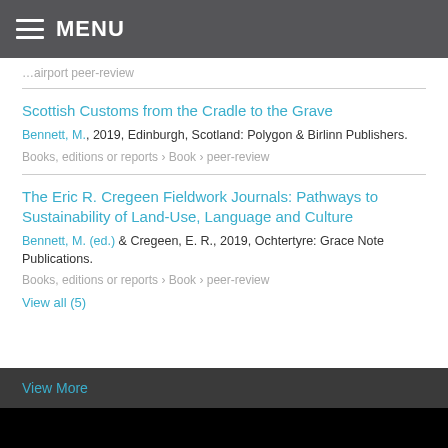MENU
…airport peer-review
Scottish Customs from the Cradle to the Grave
Bennett, M., 2019, Edinburgh, Scotland: Polygon & Birlinn Publishers.
Books, editions or reports › Book › peer-review
The Eric R. Cregeen Fieldwork Journals: Pathways to Sustainability of Land-Use, Language and Culture
Bennett, M. (ed.) & Cregeen, E. R., 2019, Ochtertyre: Grace Note Publications.
Books, editions or reports › Book › peer-review
View all (5)
View More